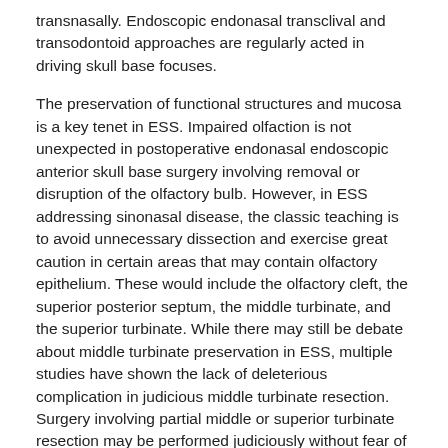transnasally. Endoscopic endonasal transclival and transodontoid approaches are regularly acted in driving skull base focuses.
The preservation of functional structures and mucosa is a key tenet in ESS. Impaired olfaction is not unexpected in postoperative endonasal endoscopic anterior skull base surgery involving removal or disruption of the olfactory bulb. However, in ESS addressing sinonasal disease, the classic teaching is to avoid unnecessary dissection and exercise great caution in certain areas that may contain olfactory epithelium. These would include the olfactory cleft, the superior posterior septum, the middle turbinate, and the superior turbinate. While there may still be debate about middle turbinate preservation in ESS, multiple studies have shown the lack of deleterious complication in judicious middle turbinate resection. Surgery involving partial middle or superior turbinate resection may be performed judiciously without fear of postoperative iatrogenic anosmia, although more research in larger samples is clearly needed. There are limited studies evaluating long term outcomes of ESS in the olfactory